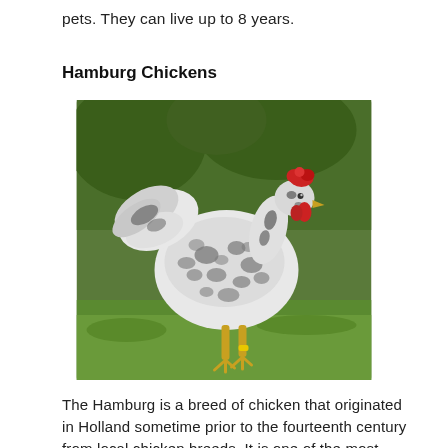pets. They can live up to 8 years.
Hamburg Chickens
[Figure (photo): A black and white speckled Hamburg rooster standing on green grass with green foliage in the background. The bird has a red comb and wattle, white and black patterned feathers resembling a Dalmatian's coat, and a yellow leg ring visible on one leg.]
The Hamburg is a breed of chicken that originated in Holland sometime prior to the fourteenth century from local chicken breeds. It is one of the most beautiful breeds with white and black feathers like a Dalmation's coat.